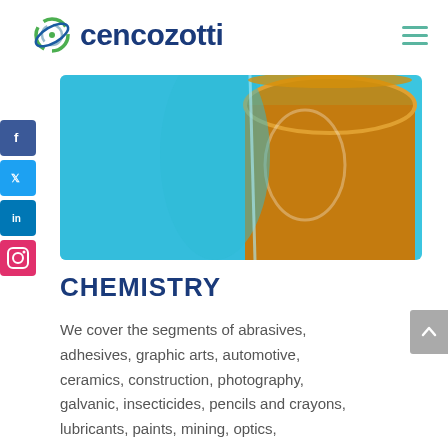cencozotti
[Figure (photo): Close-up photo of two glass beakers — one with blue liquid and one with amber/orange liquid — on a blue background, chemical/laboratory context.]
CHEMISTRY
We cover the segments of abrasives, adhesives, graphic arts, automotive, ceramics, construction, photography, galvanic, insecticides, pencils and crayons, lubricants, paints, mining, optics,